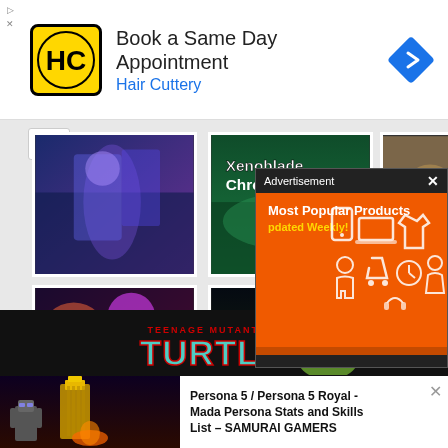[Figure (screenshot): Hair Cuttery advertisement banner: yellow HC logo, 'Book a Same Day Appointment' headline, 'Hair Cuttery' subtitle in blue, blue navigation arrow icon on right]
[Figure (screenshot): Grid of video game cover thumbnails: Fire Emblem Warriors Three Hopes, Xenoblade Chronicles 3, and other game covers visible]
[Figure (screenshot): Advertisement popup overlay with dark header showing 'Advertisement' and X close button, orange body with 'Most Popular Products Updated Weekly!' text and shopping icons]
[Figure (screenshot): Bottom area with Teenage Mutant Ninja Turtles game banner ad on dark background, and Persona 5 article thumbnail on left]
Persona 5 / Persona 5 Royal - Mada Persona Stats and Skills List – SAMURAI GAMERS